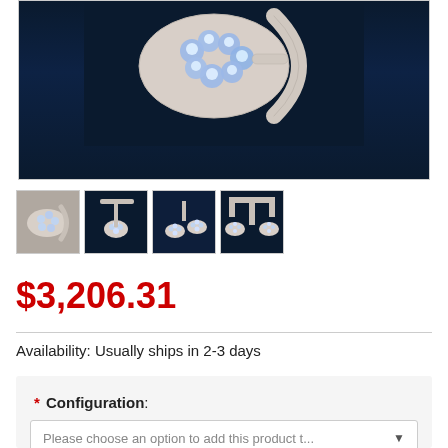[Figure (photo): Surgical/medical overhead LED operating light on dark background, close-up view showing LED array and mounting arm]
[Figure (photo): Four thumbnail images of the same surgical LED operating light from different angles]
$3,206.31
Availability: Usually ships in 2-3 days
* Configuration: Please choose an option to add this product t...